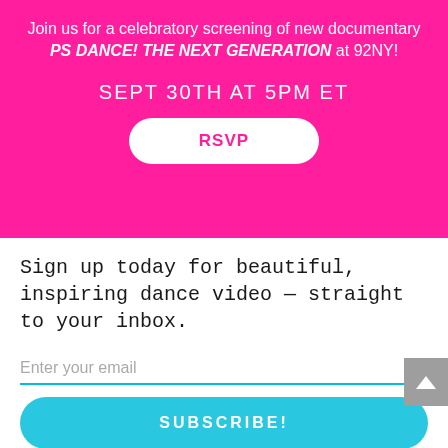Join us for a celebratory screening of new documentary PS DANCE! THE NEXT GENERATION at 92NY!
SEPT 30TH AT 5PM ET
RSVP
Sign up today for beautiful, inspiring dance video — straight to your inbox.
Enter your email
SUBSCRIBE!